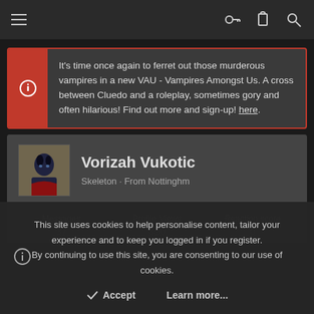Navigation bar with hamburger menu, key icon, clipboard icon, search icon
It's time once again to ferret out those murderous vampires in a new VAU - Vampires Amongst Us. A cross between Cluedo and a roleplay, sometimes gory and often hilarious! Find out more and sign-up! here.
Vorizah Vukotic
Skeleton · From Nottinghm
| Messages | Profile Views | Reaction score |
| --- | --- | --- |
| 37 | 350 | 0 |
This site uses cookies to help personalise content, tailor your experience and to keep you logged in if you register. By continuing to use this site, you are consenting to our use of cookies.
✓ Accept    Learn more...